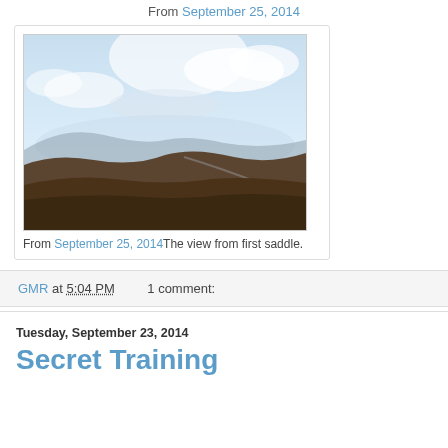From September 25, 2014
[Figure (photo): Landscape photograph showing a mountainous valley view from first saddle, with a partly cloudy sky and brown shrub-covered hills descending into a hazy valley below.]
From September 25, 2014 The view from first saddle.
GMR at 5:04 PM    1 comment:
Tuesday, September 23, 2014
Secret Training